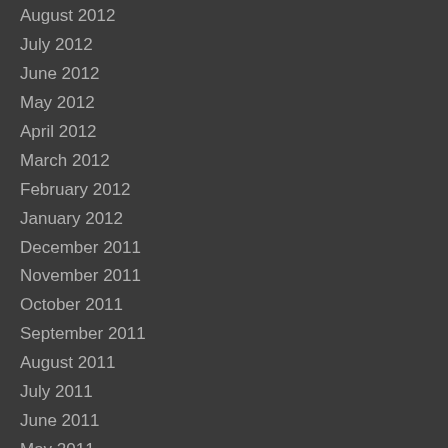August 2012
July 2012
June 2012
May 2012
April 2012
March 2012
February 2012
January 2012
December 2011
November 2011
October 2011
September 2011
August 2011
July 2011
June 2011
May 2011
April 2011
March 2011
February 2011
January 2011